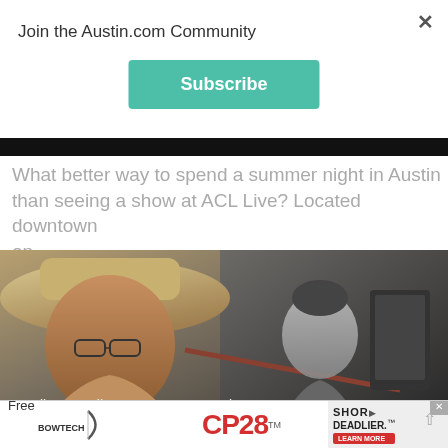Join the Austin.com Community
Subscribe
What better way to spend a summer night in Austin than seeing a show at ACL Live? Located downtown on...
[Figure (photo): Two men at a music venue or studio — one wearing a cowboy hat in the foreground, another standing behind him in the background. Text overlay shows categories: Family – Family – Free Fun In Austin]
Family – Family – Free Fun In Austin
[Figure (other): Advertisement banner for CP28 Bowtech crossbow — SHOR DEADLIER with Learn More button and X close button]